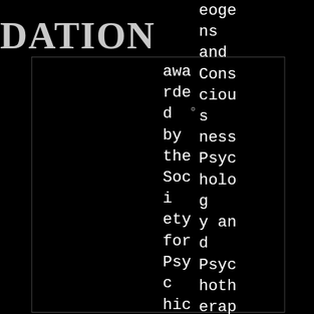DATION
awarded by the Society for Psychical Research for
eoge ns and Consciousness Psychology and Psychotherapy Parapsychology and Psychical Research arch